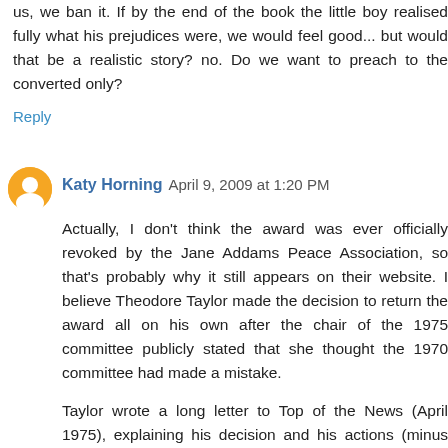us, we ban it. If by the end of the book the little boy realised fully what his prejudices were, we would feel good... but would that be a realistic story? no. Do we want to preach to the converted only?
Reply
Katy Horning  April 9, 2009 at 1:20 PM
Actually, I don't think the award was ever officially revoked by the Jane Addams Peace Association, so that's probably why it still appears on their website. I believe Theodore Taylor made the decision to return the award all on his own after the chair of the 1975 committee publicly stated that she thought the 1970 committee had made a mistake.
Taylor wrote a long letter to Top of the News (April 1975), explaining his decision and his actions (minus the falling down the stairs part). The same issue of Top of the News published a position paper from the Council on Interracial Books for Children, criticizing "The Cay."